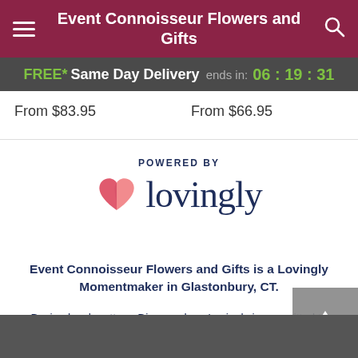Event Connoisseur Flowers and Gifts
FREE* Same Day Delivery ends in: 06 : 19 : 31
From $83.95   From $66.95
[Figure (logo): Lovingly logo with heart icon and text 'POWERED BY lovingly']
Event Connoisseur Flowers and Gifts is a Lovingly Momentmaker in Glastonbury, CT.
Buying local matters. Discover how Lovingly is committed to strengthening relationships by helping local florists market, sell, and deliver their floral designs online.